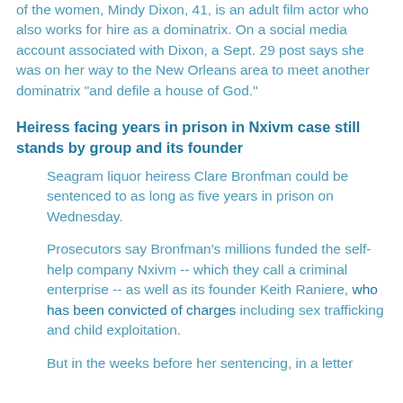of the women, Mindy Dixon, 41, is an adult film actor who also works for hire as a dominatrix. On a social media account associated with Dixon, a Sept. 29 post says she was on her way to the New Orleans area to meet another dominatrix "and defile a house of God."
Heiress facing years in prison in Nxivm case still stands by group and its founder
Seagram liquor heiress Clare Bronfman could be sentenced to as long as five years in prison on Wednesday.
Prosecutors say Bronfman's millions funded the self-help company Nxivm -- which they call a criminal enterprise -- as well as its founder Keith Raniere, who has been convicted of charges including sex trafficking and child exploitation.
But in the weeks before her sentencing, in a letter she...